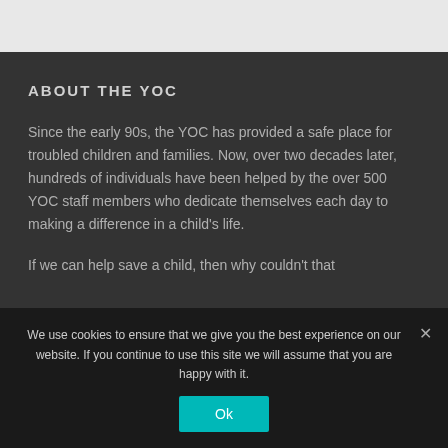ABOUT THE YOC
Since the early 90s, the YOC has provided a safe place for troubled children and families. Now, over two decades later, hundreds of individuals have been helped by the over 500 YOC staff members who dedicate themselves each day to making a difference in a child's life.
If we can help save a child, then why couldn't that
We use cookies to ensure that we give you the best experience on our website. If you continue to use this site we will assume that you are happy with it.